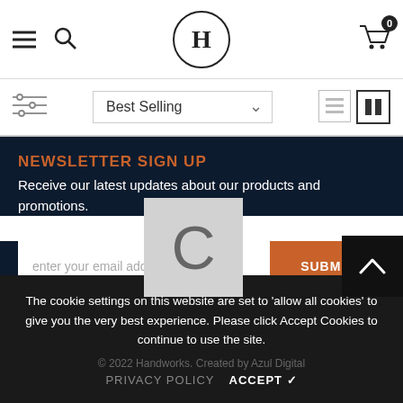Handworks — Navigation bar with hamburger menu, search icon, H logo, cart (0)
Best Selling (sort dropdown) with filter and view icons
NEWSLETTER SIGN UP
Receive our latest updates about our products and promotions.
enter your email address | SUBMIT
The cookie settings on this website are set to 'allow all cookies' to give you the very best experience. Please click Accept Cookies to continue to use the site.
© 2022 Handworks. Created by Azul Digital  PRIVACY POLICY  ACCEPT ✔